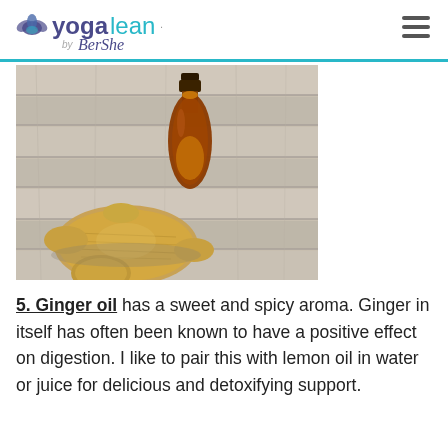yogalean by BerShe
[Figure (photo): A dark amber glass essential oil bottle and fresh ginger root pieces on a rustic weathered wood surface]
5. Ginger oil has a sweet and spicy aroma. Ginger in itself has often been known to have a positive effect on digestion. I like to pair this with lemon oil in water or juice for delicious and detoxifying support.